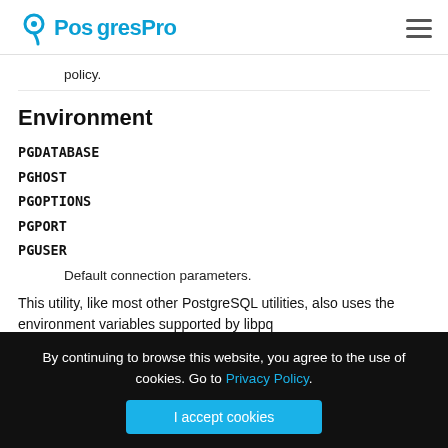PostgresPro
policy.
Environment
PGDATABASE
PGHOST
PGOPTIONS
PGPORT
PGUSER
Default connection parameters.
This utility, like most other PostgreSQL utilities, also uses the environment variables supported by libpq
By continuing to browse this website, you agree to the use of cookies. Go to Privacy Policy.
I accept cookies